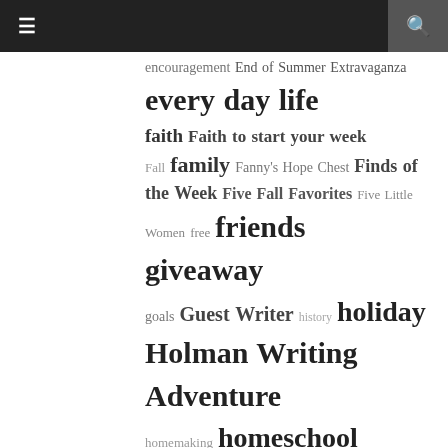Navigation bar with menu and search icons
encouragement End of Summer Extravaganza every day life faith Faith to start your week Fall family Fanny's Hope Chest Finds of the Week Five Fall Favorites Five Little Women free friends giveaway goals Guest Writer history holiday Holman Writing Adventure homemaking homeschool authors homeschooling interview Kate's Case Files Keys to Saving Laughter in Our House launch teams learning links Maple Leaf Christian Retreat Center Chronicles March of Books March of Princesses Meditations of His